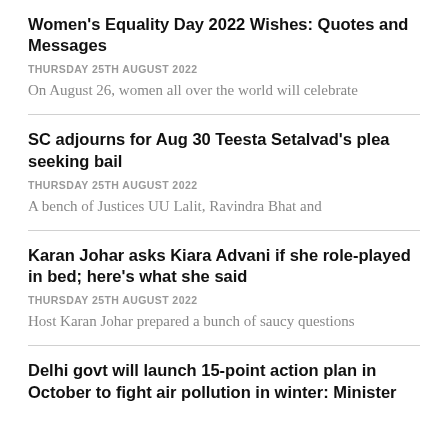Women's Equality Day 2022 Wishes: Quotes and Messages
THURSDAY 25TH AUGUST 2022
On August 26, women all over the world will celebrate
SC adjourns for Aug 30 Teesta Setalvad's plea seeking bail
THURSDAY 25TH AUGUST 2022
A bench of Justices UU Lalit, Ravindra Bhat and
Karan Johar asks Kiara Advani if she role-played in bed; here's what she said
THURSDAY 25TH AUGUST 2022
Host Karan Johar prepared a bunch of saucy questions
Delhi govt will launch 15-point action plan in October to fight air pollution in winter: Minister